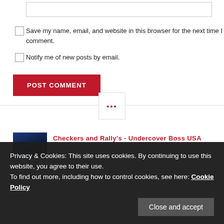[input box]
Save my name, email, and website in this browser for the next time I comment.
Notify me of new posts by email.
POST COMMENT
[Figure (other): Section divider with three red dots in a white bordered box]
Checkers and Rally's - Undercover Boss USA
Privacy & Cookies: This site uses cookies. By continuing to use this website, you agree to their use. To find out more, including how to control cookies, see here: Cookie Policy
Close and accept